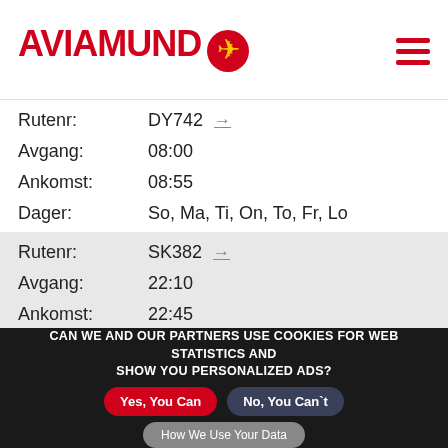[Figure (logo): Aviamundo logo with red text and yellow airplane icon on red circle]
| Field | Value |
| --- | --- |
| Rutenr: | DY742 → |
| Avgang: | 08:00 |
| Ankomst: | 08:55 |
| Dager: | So, Ma, Ti, On, To, Fr, Lo |
| Field | Value |
| --- | --- |
| Rutenr: | SK382 → |
| Avgang: | 22:10 |
| Ankomst: | 22:45 |
| Dager: | So, Ma, Ti, On, To, Fr |
| Field | Value |
| --- | --- |
| Rutenr: | WF76 → |
| Avgang: | 13:25 |
CAN WE AND OUR PARTNERS USE COOKIES FOR WEB STATISTICS AND SHOW YOU PERSONALIZED ADS?
Yes, You Can
No, You Can`t
How We Use Your Data